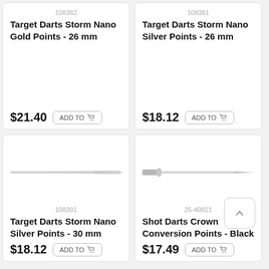108382
Target Darts Storm Nano Gold Points - 26 mm
$21.40
ADD TO
108381
Target Darts Storm Nano Silver Points - 26 mm
$18.12
ADD TO
[Figure (illustration): Dart point illustration - long silver needle-shaped dart tip]
108391
Target Darts Storm Nano Silver Points - 30 mm
$18.12
ADD TO
[Figure (illustration): Dart point illustration - silver conversion point with threaded end]
25-40821
Shot Darts Crown Conversion Points - Black
$17.49
ADD TO